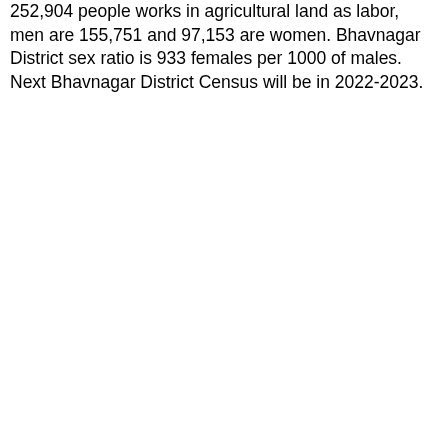252,904 people works in agricultural land as labor, men are 155,751 and 97,153 are women. Bhavnagar District sex ratio is 933 females per 1000 of males. Next Bhavnagar District Census will be in 2022-2023.